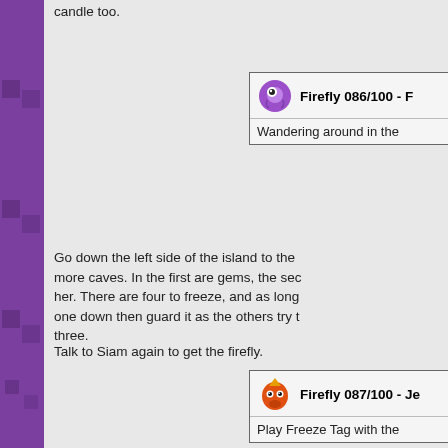candle too.
[Figure (illustration): Firefly 086/100 icon - purple creature with big eye]
Firefly 086/100 - F...
Wandering around in the...
Go down the left side of the island to the more caves. In the first are gems, the sec her. There are four to freeze, and as long one down then guard it as the others try t three.
Talk to Siam again to get the firefly.
[Figure (illustration): Firefly 087/100 icon - red/orange creature]
Firefly 087/100 - Je...
Play Freeze Tag with the...
Time to play it again, with five this time. S
[Figure (illustration): Firefly 088/100 icon - red/orange creature]
Firefly 088/100 - Si...
Play Freeze Tag with the...
And in the third cave some gems and the...